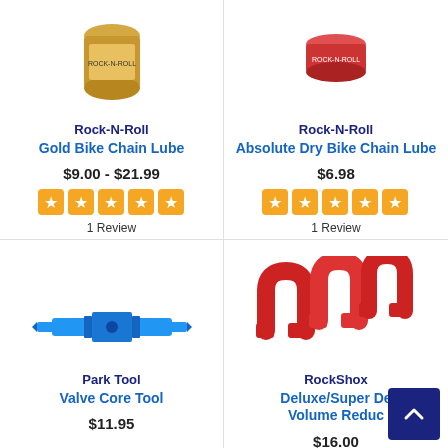[Figure (photo): Rock-N-Roll Gold Bike Chain Lube product image - gold/yellow cylindrical container]
Rock-N-Roll
Gold Bike Chain Lube
$9.00 - $21.99
[Figure (other): 5-star rating display (orange star boxes)]
1 Review
[Figure (photo): Rock-N-Roll Absolute Dry Bike Chain Lube product image - red flat container]
Rock-N-Roll
Absolute Dry Bike Chain Lube
$6.98
[Figure (other): 5-star rating display (orange star boxes)]
1 Review
[Figure (photo): Park Tool Valve Core Tool - blue metallic tool]
Park Tool
Valve Core Tool
$11.95
[Figure (photo): RockShox Deluxe/Super Deluxe Volume Reducer - red U-shaped rubber pieces]
RockShox
Deluxe/Super Deluxe Volume Reducer
$16.00